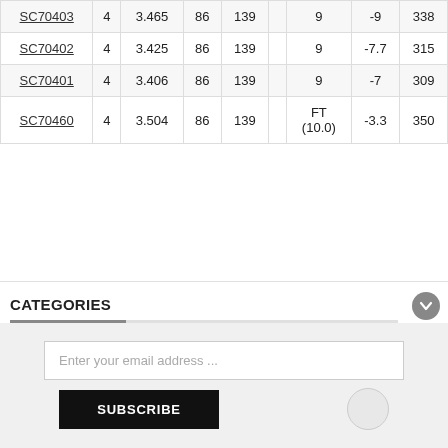| SC70403 | 4 | 3.465 | 86 | 139 |  | 9 | -9 | 338 |
| SC70402 | 4 | 3.425 | 86 | 139 |  | 9 | -7.7 | 315 |
| SC70401 | 4 | 3.406 | 86 | 139 |  | 9 | -7 | 309 |
| SC70460 | 4 | 3.504 | 86 | 139 |  | FT (10.0) | -3.3 | 350 |
CATEGORIES
MY CART
SHOP BY
Enter your email address ...
SUBSCRIBE